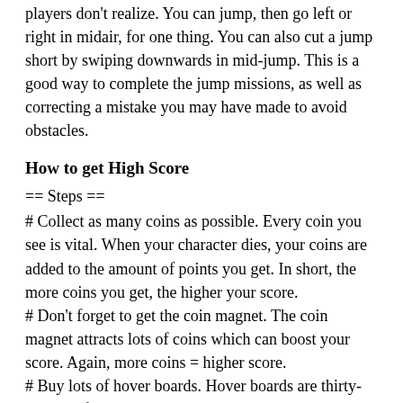players don't realize. You can jump, then go left or right in midair, for one thing. You can also cut a jump short by swiping downwards in mid-jump. This is a good way to complete the jump missions, as well as correcting a mistake you may have made to avoid obstacles.
How to get High Score
== Steps ==
# Collect as many coins as possible. Every coin you see is vital. When your character dies, your coins are added to the amount of points you get. In short, the more coins you get, the higher your score.
# Don't forget to get the coin magnet. The coin magnet attracts lots of coins which can boost your score. Again, more coins = higher score.
# Buy lots of hover boards. Hover boards are thirty-second life savers. When your character rides on the hover board you have thirty seconds to be worry free of dying. If you die while